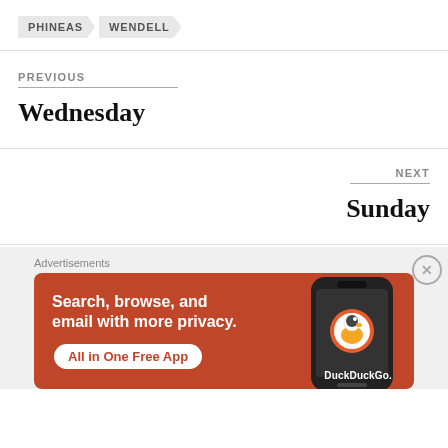PHINEAS
WENDELL
PREVIOUS
Wednesday
NEXT
Sunday
Advertisements
[Figure (other): DuckDuckGo advertisement banner: orange background with white text 'Search, browse, and email with more privacy. All in One Free App' and a smartphone with DuckDuckGo logo on the right.]